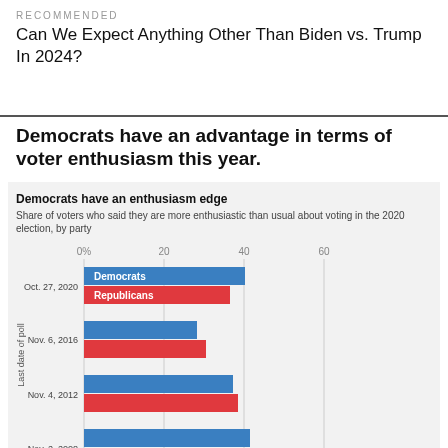RECOMMENDED
Can We Expect Anything Other Than Biden vs. Trump In 2024?
Democrats have an advantage in terms of voter enthusiasm this year.
[Figure (grouped-bar-chart): Democrats have an enthusiasm edge]